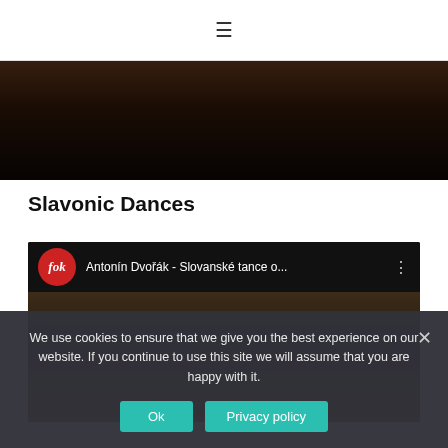≡
[Figure (photo): Dark video thumbnail showing partially visible figures in a dimly lit scene]
Slavonic Dances
[Figure (screenshot): YouTube video thumbnail for Antonín Dvořák - Slovanské tance o... featuring FOK orchestra logo and an orchestra performing in an ornate hall]
We use cookies to ensure that we give you the best experience on our website. If you continue to use this site we will assume that you are happy with it.
Ok
Privacy policy